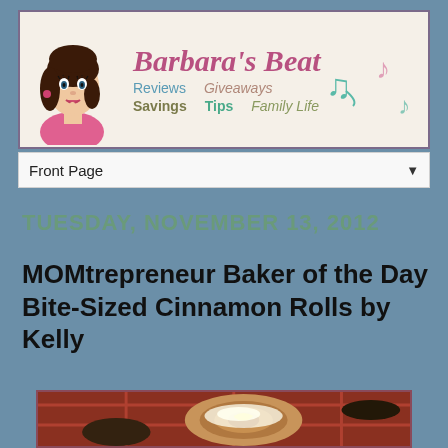[Figure (illustration): Barbara's Beat blog banner with cartoon woman, music notes, and subtitle text: Reviews, Giveaways, Savings, Tips, Family Life]
Front Page
TUESDAY, NOVEMBER 13, 2012
MOMtrepreneur Baker of the Day Bite-Sized Cinnamon Rolls by Kelly
[Figure (photo): Photo of bite-sized cinnamon rolls with white glaze icing, on a dark background]